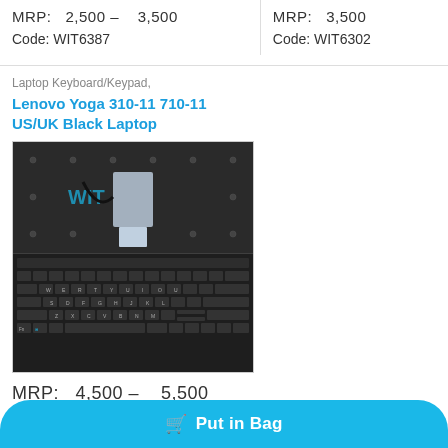MRP:  2,500 –    3,500
MRP:   3,500
Code: WIT6387
Code: WIT6302
Laptop Keyboard/Keypad,
Lenovo Yoga 310-11 710-11 US/UK Black Laptop
[Figure (photo): Lenovo Yoga 310-11 710-11 laptop keyboard, black, showing back side with ribbon cable and front side with full QWERTY layout]
MRP:   4,500 –    5,500
Code: WIT6289
Put in Bag